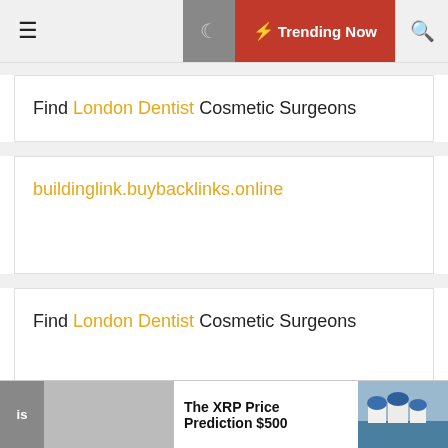☰  🌙  ⚡ Trending Now  🔍
Find London Dentist Cosmetic Surgeons
buildinglink.buybacklinks.online
Find London Dentist Cosmetic Surgeons
colonialmotelonline.com Theme: Default Mag by ThemeInWP
is  The XRP Price Prediction $500